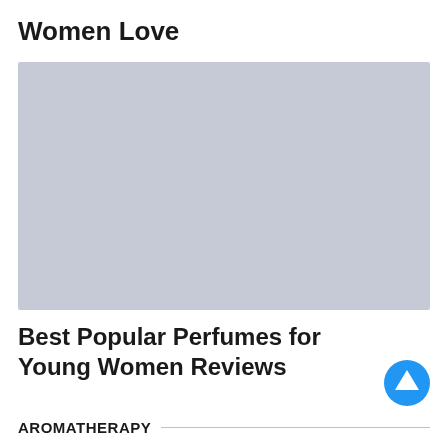Women Love
[Figure (photo): Placeholder image with light blue-grey background, likely for a perfume product photo]
Best Popular Perfumes for Young Women Reviews
AROMATHERAPY